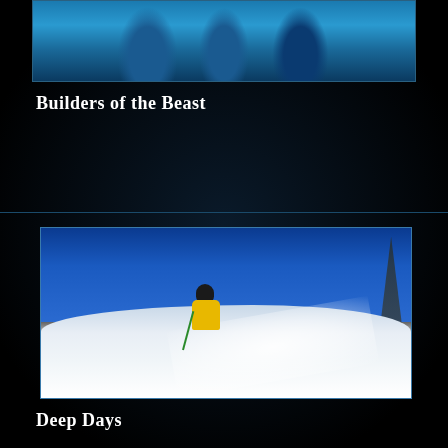[Figure (photo): People in blue ski jackets, group photo from waist up, outdoor winter setting]
Builders of the Beast
[Figure (photo): Skier in yellow jacket skiing deep powder snow with blue sky background, powder spray billowing around them, trees visible on right side]
Deep Days